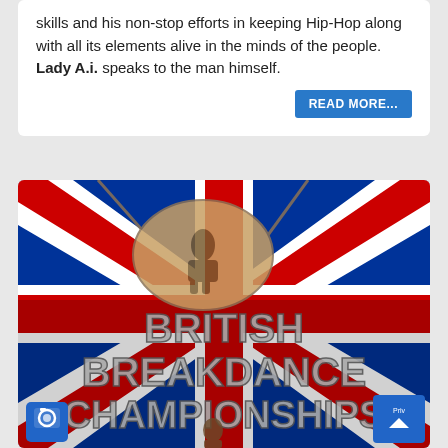skills and his non-stop efforts in keeping Hip-Hop along with all its elements alive in the minds of the people. Lady A.i. speaks to the man himself.
READ MORE...
[Figure (photo): British Breakdance Championships logo over a Union Jack flag background, with 3D metallic lettering reading BRITISH BREAKDANCE CHAMPIONSHIPS. A camera icon and scroll-to-top button overlay the bottom corners.]